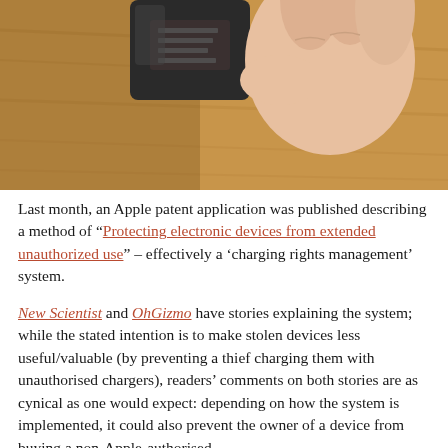[Figure (photo): A hand holding a small dark electronic device (possibly a charger or adapter) over a wooden surface, close-up photograph]
Last month, an Apple patent application was published describing a method of "Protecting electronic devices from extended unauthorized use" – effectively a 'charging rights management' system.
New Scientist and OhGizmo have stories explaining the system; while the stated intention is to make stolen devices less useful/valuable (by preventing a thief charging them with unauthorised chargers), readers' comments on both stories are as cynical as one would expect: depending on how the system is implemented, it could also prevent the owner of a device from buying a non-Apple-authorised